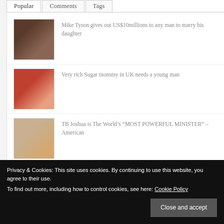Popular | Comments | Tags
Mike Tyson gives out US$10millions to any man to marry his daughter
Very rich Sugar mommy in UK needs a young man
TB Joshua is The World’s “MOST POWERFUL MINISTER” – American
TB Joshua Finally Exposed?
(partially visible)
Privacy & Cookies: This site uses cookies. By continuing to use this website, you agree to their use.
To find out more, including how to control cookies, see here: Cookie Policy
Close and accept